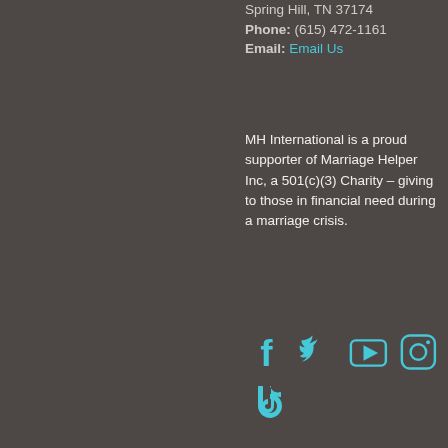Spring Hill, TN 37174
Phone: (615) 472-1161
Email: Email Us
MH International is a proud supporter of Marriage Helper Inc, a 501(c)(3) Charity – giving to those in financial need during a marriage crisis.
[Figure (infographic): Social media icons in cyan: Facebook, Twitter, YouTube, Instagram (top row), TikTok (bottom row)]